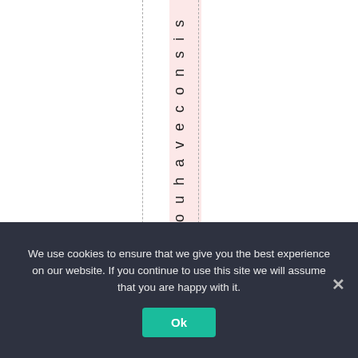[Figure (other): A document editor or spreadsheet view showing vertical dashed column lines, a pink highlighted column, and vertical text reading 'r c h y o u h a v e c o n s i s t e n' rotated 90 degrees within the pink column.]
We use cookies to ensure that we give you the best experience on our website. If you continue to use this site we will assume that you are happy with it.